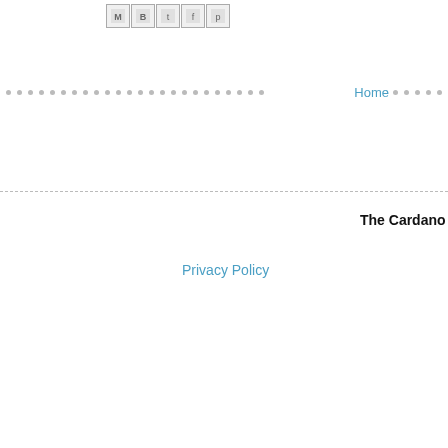[Figure (other): Social media sharing icons: Gmail (M), Blogger (B), Twitter (t), Facebook (f), Pinterest (p) in small bordered boxes]
Home
The Cardano Report
Privacy Policy
*M